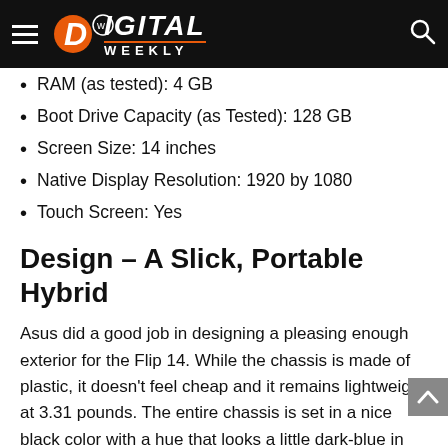Digital Weekly
RAM (as tested): 4 GB
Boot Drive Capacity (as Tested): 128 GB
Screen Size: 14 inches
Native Display Resolution: 1920 by 1080
Touch Screen: Yes
Design – A Slick, Portable Hybrid
Asus did a good job in designing a pleasing enough exterior for the Flip 14. While the chassis is made of plastic, it doesn't feel cheap and it remains lightweight at 3.31 pounds. The entire chassis is set in a nice black color with a hue that looks a little dark-blue in some sparkle; officially it's called “Bespoke Black.” Black, as ever looks awesome.